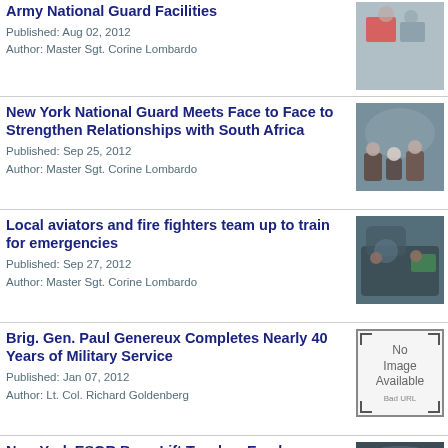Army National Guard Facilities
Published: Aug 02, 2012
Author: Master Sgt. Corine Lombardo
[Figure (photo): People gathered at Army National Guard Facilities event]
New York National Guard Meets Face to Face to Strengthen Relationships with South Africa
Published: Sep 25, 2012
Author: Master Sgt. Corine Lombardo
[Figure (photo): Meeting with South Africa representatives]
Local aviators and fire fighters team up to train for emergencies
Published: Sep 27, 2012
Author: Master Sgt. Corine Lombardo
[Figure (photo): Aviators and fire fighters training in aircraft]
Brig. Gen. Paul Genereux Completes Nearly 40 Years of Military Service
Published: Jan 07, 2012
Author: Lt. Col. Richard Goldenberg
[Figure (other): No Image Available - Bad URL]
New York ESGR Boss Lift Teaches Employers About The Guard and Encourages them to hire Soldiers, Airmen
Published: Oct 19, 2012
Author: Eric Durr
[Figure (photo): Group photo in front of military aircraft]